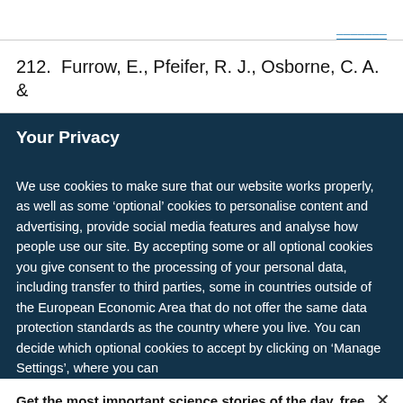212.  Furrow, E., Pfeifer, R. J., Osborne, C. A. &
Your Privacy
We use cookies to make sure that our website works properly, as well as some ‘optional’ cookies to personalise content and advertising, provide social media features and analyse how people use our site. By accepting some or all optional cookies you give consent to the processing of your personal data, including transfer to third parties, some in countries outside of the European Economic Area that do not offer the same data protection standards as the country where you live. You can decide which optional cookies to accept by clicking on ‘Manage Settings’, where you can
Get the most important science stories of the day, free in your inbox.
Sign up for Nature Briefing